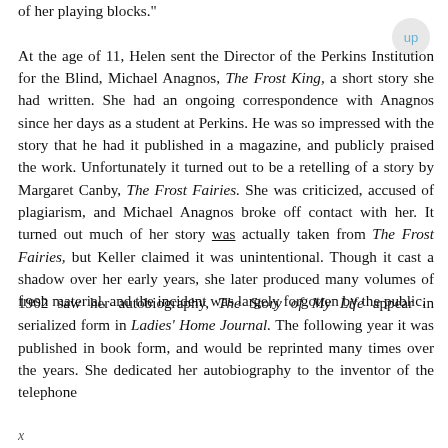of her playing blocks."

At the age of 11, Helen sent the Director of the Perkins Institution for the Blind, Michael Anagnos, The Frost King, a short story she had written. She had an ongoing correspondence with Anagnos since her days as a student at Perkins. He was so impressed with the story that he had it published in a magazine, and publicly praised the work. Unfortunately it turned out to be a retelling of a story by Margaret Canby, The Frost Fairies. She was criticized, accused of plagiarism, and Michael Anagnos broke off contact with her. It turned out much of her story was actually taken from The Frost Fairies, but Keller claimed it was unintentional. Though it cast a shadow over her early years, she later produced many volumes of fresh material, and the incident was largely forgotten by the public.
1902 saw her autobiography, The Story of My Life appear in serialized form in Ladies' Home Journal. The following year it was published in book form, and would be reprinted many times over the years. She dedicated her autobiography to the inventor of the telephone